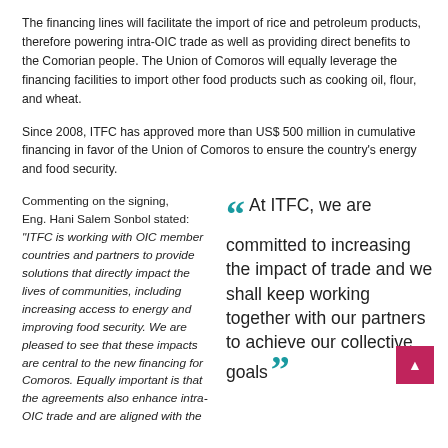The financing lines will facilitate the import of rice and petroleum products, therefore powering intra-OIC trade as well as providing direct benefits to the Comorian people. The Union of Comoros will equally leverage the financing facilities to import other food products such as cooking oil, flour, and wheat.
Since 2008, ITFC has approved more than US$ 500 million in cumulative financing in favor of the Union of Comoros to ensure the country's energy and food security.
Commenting on the signing, Eng. Hani Salem Sonbol stated: “ITFC is working with OIC member countries and partners to provide solutions that directly impact the lives of communities, including increasing access to energy and improving food security. We are pleased to see that these impacts are central to the new financing for Comoros. Equally important is that the agreements also enhance intra-OIC trade and are aligned with the
At ITFC, we are committed to increasing the impact of trade and we shall keep working together with our partners to achieve our collective goals